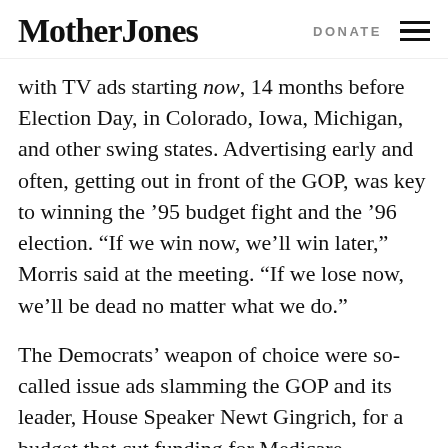Mother Jones | DONATE
with TV ads starting now, 14 months before Election Day, in Colorado, Iowa, Michigan, and other swing states. Advertising early and often, getting out in front of the GOP, was key to winning the ‘95 budget fight and the ‘96 election. “If we win now, we’ll win later,” Morris said at the meeting. “If we lose now, we’ll be dead no matter what we do.”
The Democrats’ weapon of choice were so-called issue ads slamming the GOP and its leader, House Speaker Newt Gingrich, for a budget that cut funding for Medicare, Medicaid, and Head Start. The ads would also tout Clinton’s pledge to cut taxes on the middle class, beef up environmental protections, and balance the budget without axing